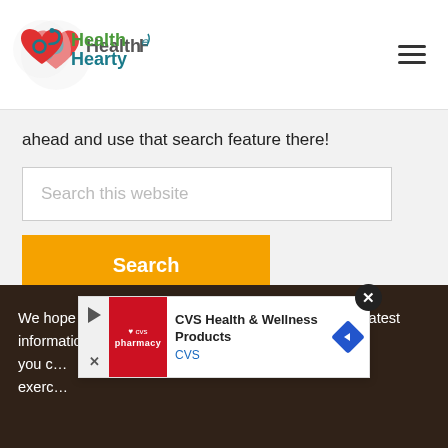[Figure (logo): HealthHearty logo with heart stethoscope icon and teal/green text]
ahead and use that search feature there!
[Figure (screenshot): Search box with placeholder text 'Search this website' and an orange Search button]
We hope you are enjoying HealthHearty! We offer the latest information for being the best, most healthy "you" you c... exerc...
[Figure (infographic): CVS Health & Wellness Products advertisement overlay with close button]